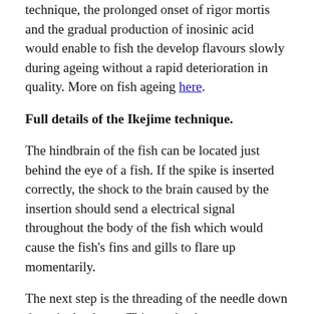technique, the prolonged onset of rigor mortis and the gradual production of inosinic acid would enable to fish the develop flavours slowly during ageing without a rapid deterioration in quality. More on fish ageing here.
Full details of the Ikejime technique.
The hindbrain of the fish can be located just behind the eye of a fish. If the spike is inserted correctly, the shock to the brain caused by the insertion should send a electrical signal throughout the body of the fish which would cause the fish's fins and gills to flare up momentarily.
The next step is the threading of the needle down the spinal column. This can be done two ways: through the head or through the tail. There are two way from which you can access the spinal cord through the head, one is